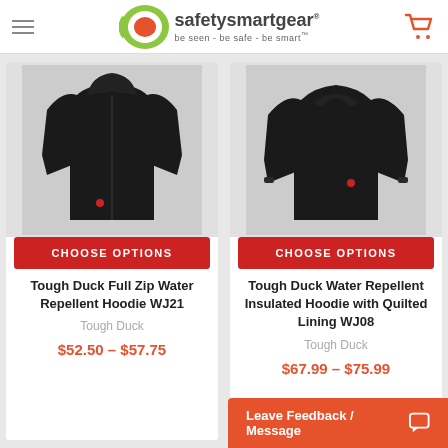safetysmartgear - be seen - be safe - be smart
[Figure (photo): Black hoodie - Tough Duck Full Zip Water Repellent Hoodie WJ21]
CHOOSE OPTIONS
Tough Duck Full Zip Water Repellent Hoodie WJ21
Tough Duck
$52.50 - $57.75
[Figure (photo): Black insulated hoodie - Tough Duck Water Repellent Insulated Hoodie with Quilted Lining WJ08]
CHOOSE OPTIONS
Tough Duck Water Repellent Insulated Hoodie with Quilted Lining WJ08
Tough Duck
$67.99 - $75.99
Leave Feedback / Message